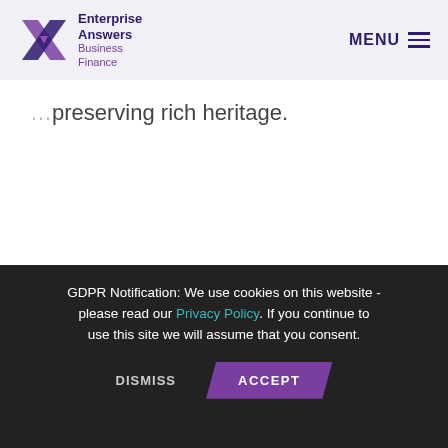Enterprise Answers Business Finance | MENU
…preserving rich heritage.
GDPR Notification: We use cookies on this website - please read our Privacy Policy. If you continue to use this site we will assume that you consent.
DISMISS | ACCEPT